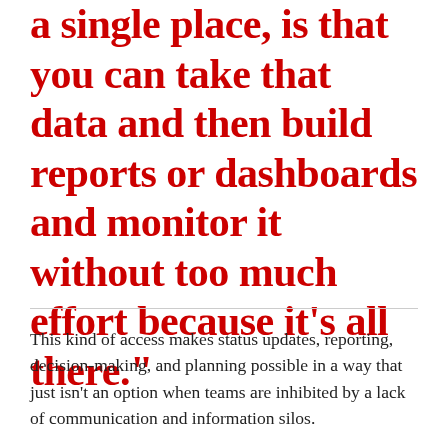a single place, is that you can take that data and then build reports or dashboards and monitor it without too much effort because it’s all there.”
This kind of access makes status updates, reporting, decision-making, and planning possible in a way that just isn’t an option when teams are inhibited by a lack of communication and information silos.